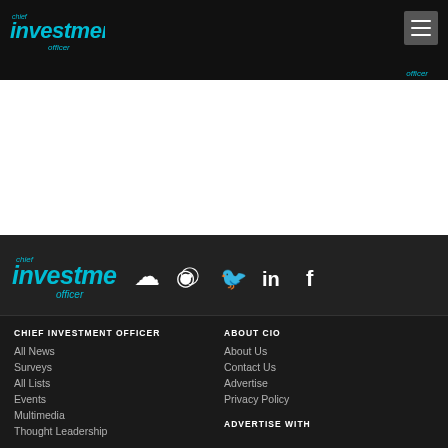[Figure (logo): Chief Investment Officer logo in top navigation bar]
[Figure (logo): Hamburger menu icon top right]
[Figure (logo): Chief Investment Officer footer logo with social media icons: SoundCloud, RSS, Twitter, LinkedIn, Facebook]
CHIEF INVESTMENT OFFICER
All News
Surveys
All Lists
Events
Multimedia
Thought Leadership
ABOUT CIO
About Us
Contact Us
Advertise
Privacy Policy
ADVERTISE WITH